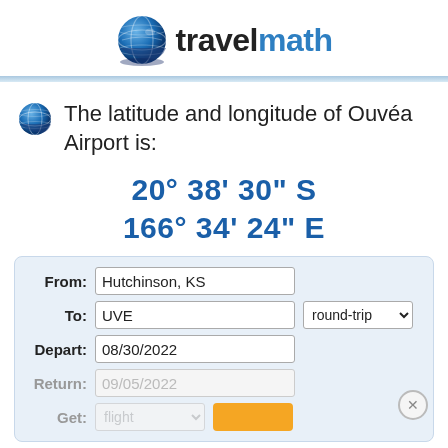[Figure (logo): TravelMath logo with globe icon and brand name travel in black and math in blue]
The latitude and longitude of Ouvéa Airport is:
20° 38' 30" S
166° 34' 24" E
[Figure (screenshot): Search form with fields: From: Hutchinson, KS; To: UVE with round-trip dropdown; Depart: 08/30/2022; Return: 09/05/2022 (dimmed); Get: flight dropdown (dimmed) with orange button]